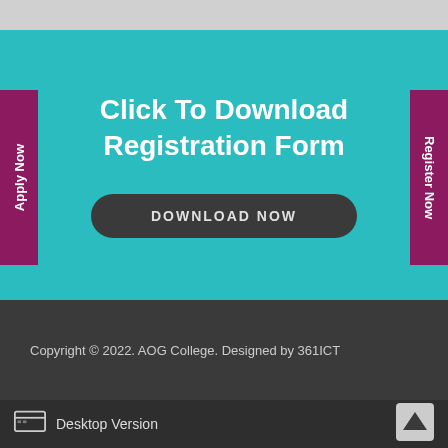Click To Download Registration Form
DOWNLOAD NOW
Apply Now
Register Now
Copyright © 2022. AOG College. Designed by 361ICT
Desktop Version